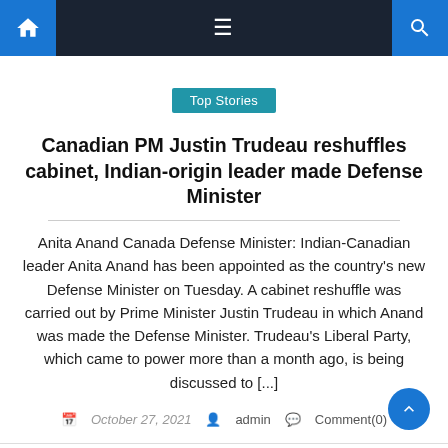Navigation bar with home, menu, and search icons
Top Stories
Canadian PM Justin Trudeau reshuffles cabinet, Indian-origin leader made Defense Minister
Anita Anand Canada Defense Minister: Indian-Canadian leader Anita Anand has been appointed as the country's new Defense Minister on Tuesday. A cabinet reshuffle was carried out by Prime Minister Justin Trudeau in which Anand was made the Defense Minister. Trudeau's Liberal Party, which came to power more than a month ago, is being discussed to [...]
October 27, 2021  admin  Comment(0)